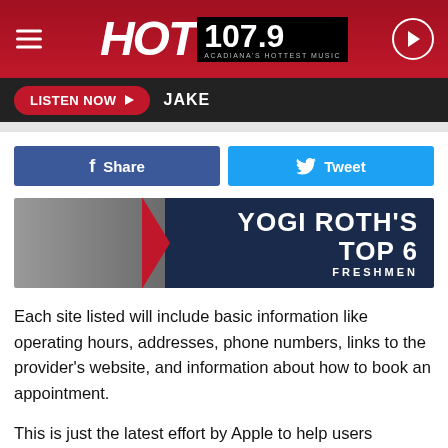HOT 107.9 ACADIANA'S HOTTEST MUSIC
LISTEN NOW   JAKE
[Figure (other): Facebook Share button and Twitter Tweet button]
[Figure (other): Banner image showing Yogi Roth's Top 6 Freshmen]
Each site listed will include basic information like operating hours, addresses, phone numbers, links to the provider's website, and information about how to book an appointment.
This is just the latest effort by Apple to help users navigate through the coronavirus pandemic safely. Officials with Apple are saying that the rollout for the new feature will include about 200,000 locations for vaccinations, but that number will be expanded in the near future.